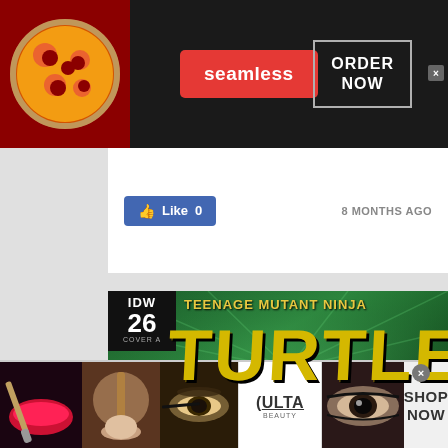[Figure (screenshot): Seamless food delivery ad banner with pizza image on left, red Seamless badge in center, ORDER NOW box on right, dark background]
[Figure (screenshot): Facebook-style Like button showing 0 likes with timestamp 8 MONTHS AGO on the right]
[Figure (screenshot): IDW Teenage Mutant Ninja Turtles comic book cover banner, issue 26 Cover A, green background with large yellow TURTLES lettering]
[Figure (screenshot): Ulta Beauty advertisement banner with makeup imagery (lips, brush, eyes) and SHOP NOW text]